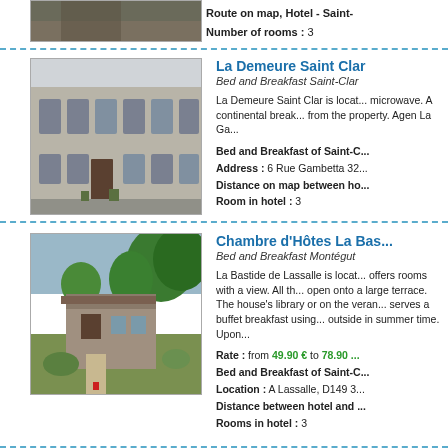[Figure (photo): Top partial photo of a stone building (cropped)]
Route on map, Hotel - Saint-
Number of rooms : 3
[Figure (photo): Photo of La Demeure Saint Clar, a stone building with shuttered windows]
La Demeure Saint Clar
Bed and Breakfast Saint-Clar
La Demeure Saint Clar is locat... microwave. A continental break... from the property. Agen La Ga...
Bed and Breakfast of Saint-C...
Address : 6 Rue Gambetta 32...
Distance on map between ho...
Room in hotel : 3
[Figure (photo): Photo of Chambre d'Hôtes La Bastide, a rural property with garden and trees]
Chambre d'Hôtes La Bas...
Bed and Breakfast Montégut
La Bastide de Lassalle is locat... offers rooms with a view. All th... open onto a large terrace. The house's library or on the veran... serves a buffet breakfast using... outside in summer time. Upon...
Rate : from 49.90 € to 78.90 ...
Bed and Breakfast of Saint-C...
Location : A Lassalle, D149 3...
Distance between hotel and ...
Rooms in hotel : 3